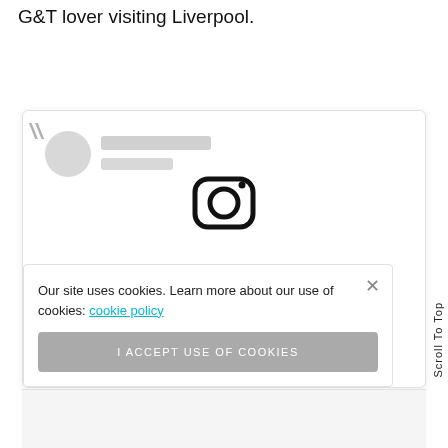G&T lover visiting Liverpool.
[Figure (screenshot): A social media embed card showing a blurred/placeholder profile avatar with quote marks and two grey placeholder lines for name/handle. Below, an Instagram camera icon is partially visible. Over the card, a cookie consent banner reads: 'Our site uses cookies. Learn more about our use of cookies: cookie policy' with an 'I ACCEPT USE OF COOKIES' button and an X close button. A vertical 'Scroll To Top' label appears on the right edge.]